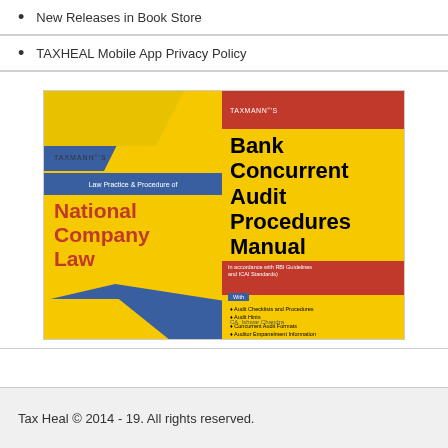New Releases in Book Store
TAXHEAL Mobile App Privacy Policy
[Figure (photo): Two Taxmann's book covers side by side: 'Law Practice & Procedure of National Company Law Tribunal' on the left and 'Bank Concurrent Audit Procedures Manual' by CA. Ishwar Chandra on the right.]
Tax Heal © 2014 - 19. All rights reserved.